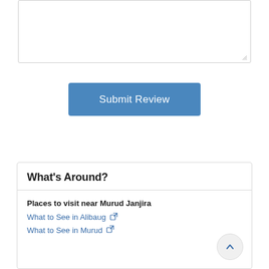[Figure (screenshot): A textarea input box with resize handle at bottom-right corner]
[Figure (screenshot): A blue Submit Review button]
What's Around?
Places to visit near Murud Janjira
What to See in Alibaug [external link icon]
What to See in Murud [external link icon — partially visible]